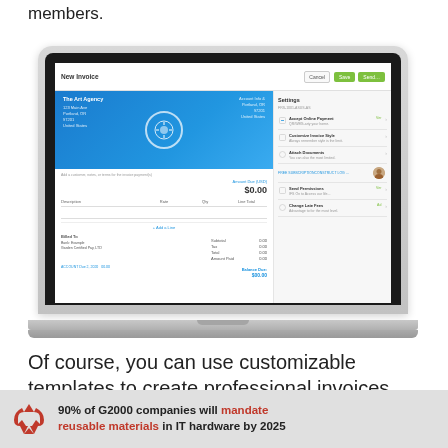members.
[Figure (screenshot): Screenshot of an invoice creation interface shown on a laptop computer. The screen displays 'New Invoice' with a blue header banner showing 'The Art Agency' logo, settings panel on right with options like Accept Online Payment, Customize Invoice Style, Attach Documents, Send Permissions, Change Late Fees.]
Of course, you can use customizable templates to create professional invoices.
90% of G2000 companies will mandate reusable materials in IT hardware by 2025